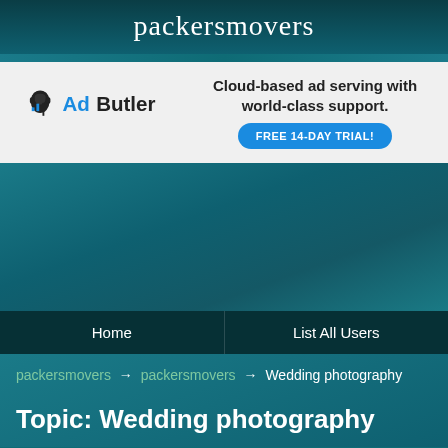packersmovers
[Figure (screenshot): AdButler advertisement banner: logo on left with text 'Cloud-based ad serving with world-class support.' and a blue button 'FREE 14-DAY TRIAL!']
Home   List All Users
packersmovers → packersmovers → Wedding photography
Topic: Wedding photography